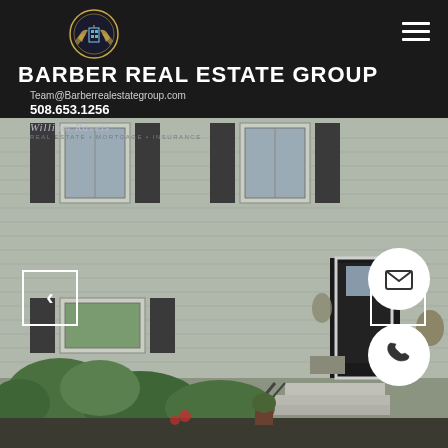Barber Real Estate Group — Team@Barberrealestategroup.com — 508.653.1256 — William Raveis Real Estate • Mortgage • Insurance
[Figure (photo): Exterior photo of a two-story residential house with grey vinyl siding, dark shutters, front entry stairs and railing, bushes and landscaping in foreground, house number 173 visible]
[Figure (other): Left navigation arrow button (white outlined square with left chevron)]
[Figure (other): Right navigation arrow button (white outlined square with right chevron)]
[Figure (other): White circular email button with envelope icon]
[Figure (other): White circular phone button with handset icon]